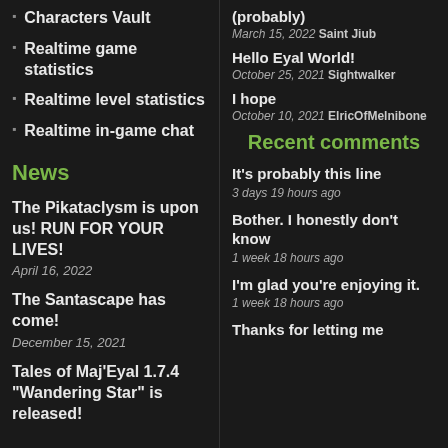Characters Vault
Realtime game statistics
Realtime level statistics
Realtime in-game chat
News
The Pikataclysm is upon us! RUN FOR YOUR LIVES!
April 16, 2022
The Santascape has come!
December 15, 2021
Tales of Maj'Eyal 1.7.4 "Wandering Star" is released!
(probably)
March 15, 2022 Saint Jiub
Hello Eyal World!
October 25, 2021 Sightwalker
I hope
October 10, 2021 ElricOfMelnibone
Recent comments
It's probably this line
3 days 19 hours ago
Bother. I honestly don't know
1 week 18 hours ago
I'm glad you're enjoying it.
1 week 18 hours ago
Thanks for letting me